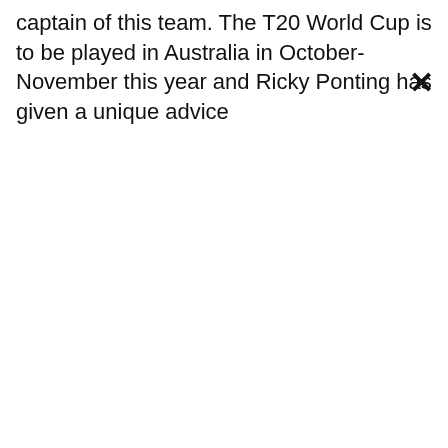captain of this team. The T20 World Cup is to be played in Australia in October-November this year and Ricky Ponting has given a unique advice